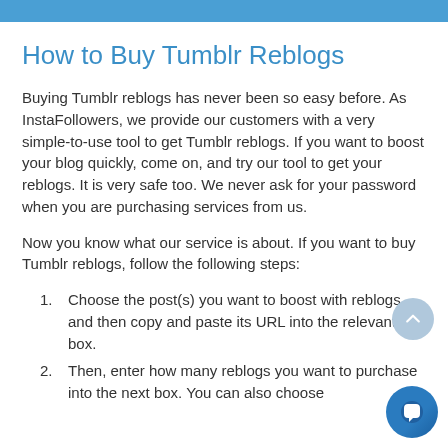How to Buy Tumblr Reblogs
Buying Tumblr reblogs has never been so easy before. As InstaFollowers, we provide our customers with a very simple-to-use tool to get Tumblr reblogs. If you want to boost your blog quickly, come on, and try our tool to get your reblogs. It is very safe too. We never ask for your password when you are purchasing services from us.
Now you know what our service is about. If you want to buy Tumblr reblogs, follow the following steps:
Choose the post(s) you want to boost with reblogs, and then copy and paste its URL into the relevant box.
Then, enter how many reblogs you want to purchase into the next box. You can also choose